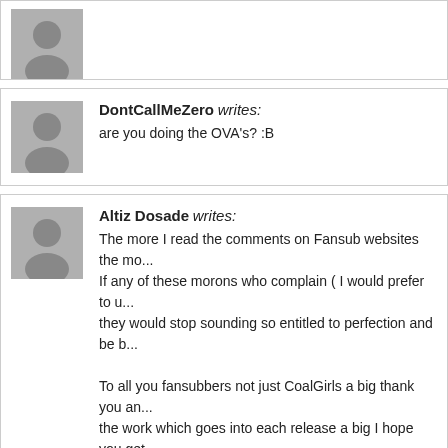[Figure (other): Partial comment block cut off at top of page, showing a grey avatar icon]
DontCallMeZero writes:
are you doing the OVA's? :B
Altiz Dosade writes:
The more I read the comments on Fansub websites the mo... If any of these morons who complain ( I would prefer to u... they would stop sounding so entitled to perfection and be b...

To all you fansubbers not just CoalGirls a big thank you an... the work which goes into each release a big I hope you get...
xlacrimax writes:
I use VLC, and when I play episode 25 the video freezes...